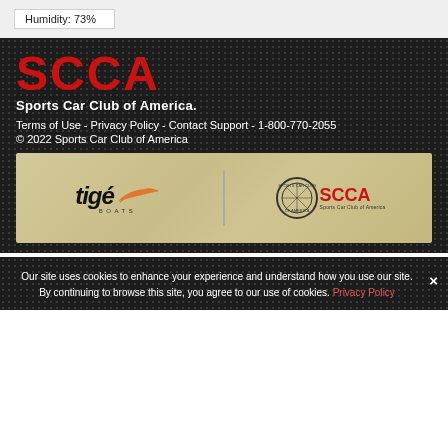Humidity: 73%
[Figure (logo): SCCA Sports Car Club of America logo in red and white on dark textured background]
Terms of Use - Privacy Policy - Contact Support - 1-800-770-2055
© 2022 Sports Car Club of America
[Figure (logo): Tigé Boats and SCCA Sports Car Club of America co-branded banner on wood-grain background]
Our site uses cookies to enhance your experience and understand how you use our site. By continuing to browse this site, you agree to our use of cookies. Privacy Policy